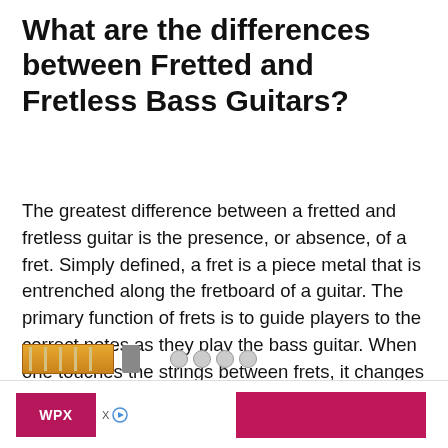What are the differences between Fretted and Fretless Bass Guitars?
The greatest difference between a fretted and fretless guitar is the presence, or absence, of a fret. Simply defined, a fret is a piece metal that is entrenched along the fretboard of a guitar. The primary function of frets is to guide players to the correct notes as they play the bass guitar. When one touches the strings between frets, it changes the length of the guitar string, and this in turn changes the notes of the song being played.
[Figure (illustration): Partial image at the bottom of the page showing a fretboard/guitar neck graphic and circular icons, partially cut off]
[Figure (other): Advertisement banner at the bottom: WPX hosting ad with pink/magenta colored boxes and X/play icons]